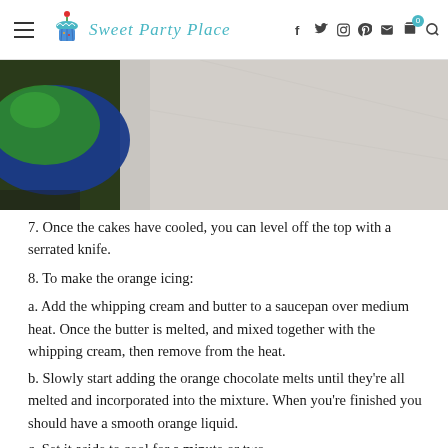Sweet Party Place — navigation header with menu, logo, social icons, cart, search
[Figure (photo): Partial view of a green-filled bowl with blue rim on a gray surface, top-cropped photo]
7. Once the cakes have cooled, you can level off the top with a serrated knife.
8. To make the orange icing:
a. Add the whipping cream and butter to a saucepan over medium heat. Once the butter is melted, and mixed together with the whipping cream, then remove from the heat.
b. Slowly start adding the orange chocolate melts until they're all melted and incorporated into the mixture. When you're finished you should have a smooth orange liquid.
c. Set it aside to cool for a minute or two.